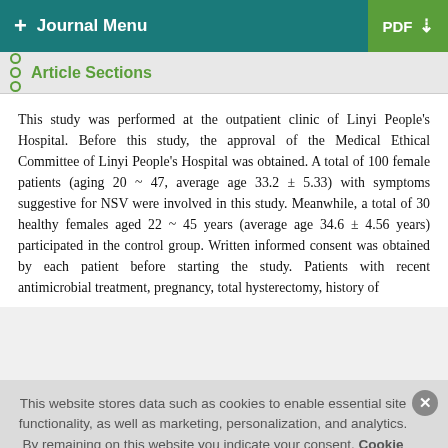+ Journal Menu | PDF ↓
Article Sections
This study was performed at the outpatient clinic of Linyi People's Hospital. Before this study, the approval of the Medical Ethical Committee of Linyi People's Hospital was obtained. A total of 100 female patients (aging 20 ~ 47, average age 33.2 ± 5.33) with symptoms suggestive for NSV were involved in this study. Meanwhile, a total of 30 healthy females aged 22 ~ 45 years (average age 34.6 ± 4.56 years) participated in the control group. Written informed consent was obtained by each patient before starting the study. Patients with recent antimicrobial treatment, pregnancy, total hysterectomy, history of
This website stores data such as cookies to enable essential site functionality, as well as marketing, personalization, and analytics. By remaining on this website you indicate your consent. Cookie Policy